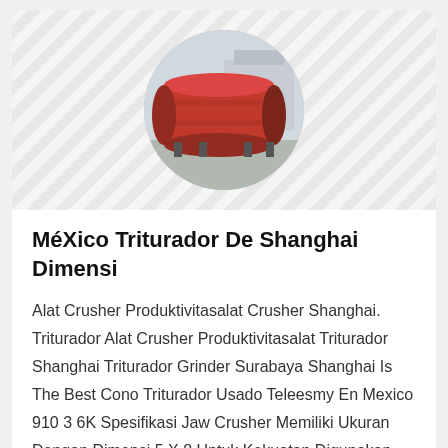[Figure (photo): Circular cropped photo of a large industrial red drum/ball mill machine in an outdoor industrial setting, overlaid on a diagonal hatched background.]
México Triturador De Shanghai Dimensi
Alat Crusher Produktivitasalat Crusher Shanghai. Triturador Alat Crusher Produktivitasalat Triturador Shanghai Triturador Grinder Surabaya Shanghai Is The Best Cono Triturador Usado Teleesmy En Mexico 910 3 6K Spesifikasi Jaw Crusher Memiliki Ukuran Dengan Dimensi 5 X 8 Untuk Kekuatan Digunakan 3Ft Zenith Cone Crushers Price
[Figure (photo): Partially visible photo of industrial machinery (crusher/grinder) at the bottom of the page, cropped by the page boundary, on a diagonal hatched background.]